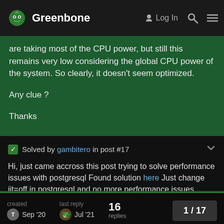Greenbone  Log In
are taking most of the CPU power, but still this remains very low considering the global CPU power of the system. So clearly, it doesn't seem optimized.

Any clue ?

Thanks
Solved by gambitero in post #17
Hi, just came accross this post trying to solve performance issues with postgresql Found solution here Just change jit=off in postgresql and no more performance issues.
created Sep '20   last reply Jul '21   16 replies   1 / 17